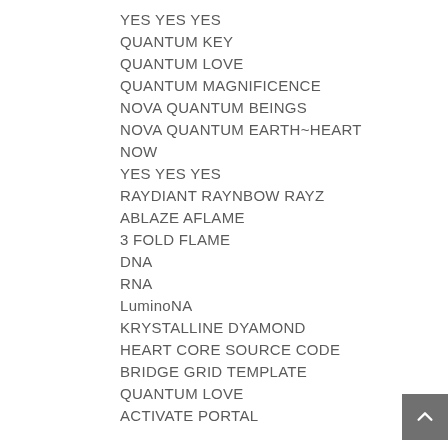YES YES YES
QUANTUM KEY
QUANTUM LOVE
QUANTUM MAGNIFICENCE
NOVA QUANTUM BEINGS
NOVA QUANTUM EARTH~HEART
NOW
YES YES YES
RAYDIANT RAYNBOW RAYZ
ABLAZE AFLAME
3 FOLD FLAME
DNA
RNA
LuminoNA
KRYSTALLINE DYAMOND
HEART CORE SOURCE CODE
BRIDGE GRID TEMPLATE
QUANTUM LOVE
ACTIVATE PORTAL